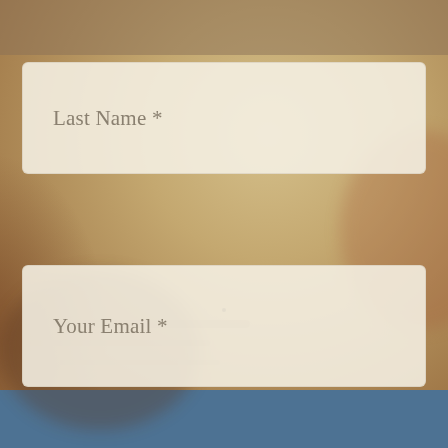[Figure (photo): Blurred background photo of food (bread/pastry) with warm tan and brown tones, with a steel blue bar at the bottom]
Last Name *
Your Email *
SUBMIT